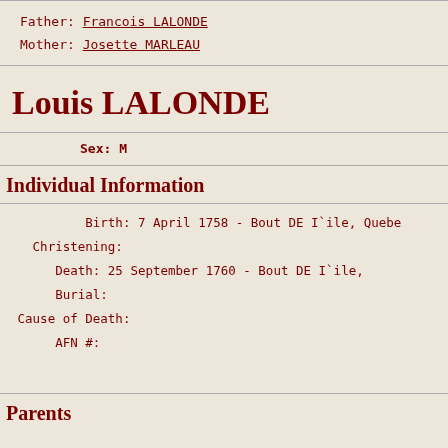Father: Francois LALONDE
Mother: Josette MARLEAU
Louis LALONDE
Sex: M
Individual Information
Birth: 7 April 1758 - Bout DE I`ile, Quebec
Christening:
Death: 25 September 1760 - Bout DE I`ile,
Burial:
Cause of Death:
AFN #:
Parents